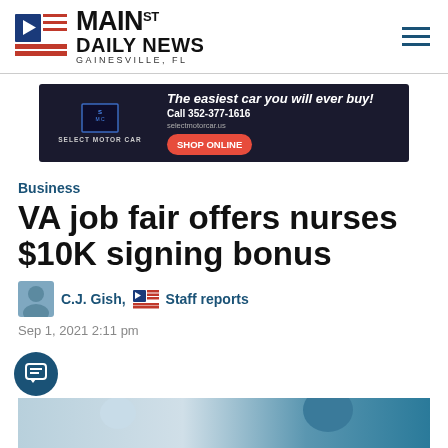[Figure (logo): Main St Daily News logo with flag icon, Gainesville FL]
[Figure (infographic): Select Motor Car advertisement: The easiest car you will ever buy! Call 352-377-1616, selectmotorcar.us, SHOP ONLINE button]
Business
VA job fair offers nurses $10K signing bonus
C.J. Gish, Staff reports
Sep 1, 2021 2:11 pm
[Figure (photo): Partial photo at bottom showing nurses or medical personnel]